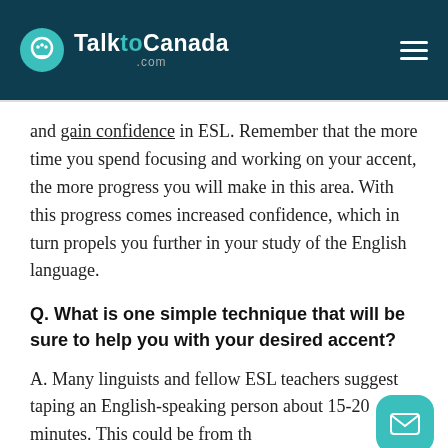TalktoCanada.com
and gain confidence in ESL. Remember that the more time you spend focusing and working on your accent, the more progress you will make in this area. With this progress comes increased confidence, which in turn propels you further in your study of the English language.
Q. What is one simple technique that will be sure to help you with your desired accent?
A. Many linguists and fellow ESL teachers suggest taping an English-speaking perso… about 15-20 minutes. This could be from t…